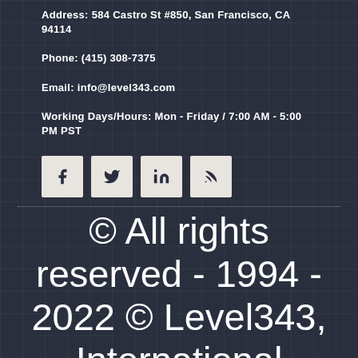Address: 584 Castro St #850, San Francisco, CA 94114
Phone: (415) 308-7375
Email: info@level343.com
Working Days/Hours: Mon - Friday / 7:00 AM - 5:00 PM PST
[Figure (other): Social media icons: Facebook, Twitter, LinkedIn, RSS feed]
© All rights reserved - 1994 - 2022 © Level343, International Marketing & SEO Company